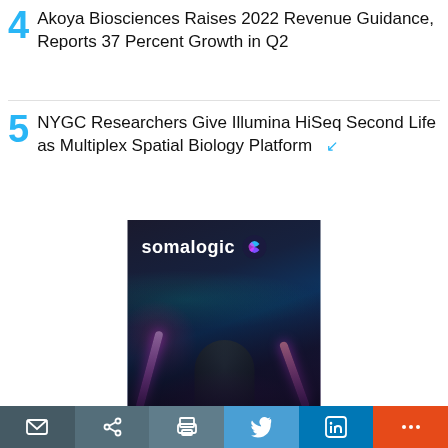4 Akoya Biosciences Raises 2022 Revenue Guidance, Reports 37 Percent Growth in Q2
5 NYGC Researchers Give Illumina HiSeq Second Life as Multiplex Spatial Biology Platform
[Figure (photo): SomaLogic advertisement banner showing a person with arms raised holding light beams in a dark atmospheric scene, with SomaLogic logo and wordmark in upper portion]
Email | Share | Print | Twitter | LinkedIn | More